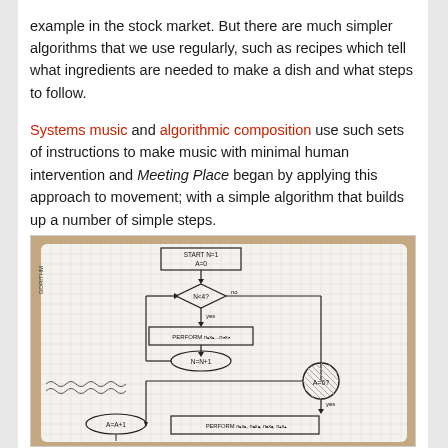example in the stock market. But there are much simpler algorithms that we use regularly, such as recipes which tell what ingredients are needed to make a dish and what steps to follow.
Systems music and algorithmic composition use such sets of instructions to make music with minimal human intervention and Meeting Place began by applying this approach to movement; with a simple algorithm that builds up a number of simple steps.
[Figure (photo): A photograph of a hand-drawn flowchart in a grid notebook. The flowchart shows: START N=1, A=0 box at top; diamond decision N<4? with 'no' going right and 'yes' going down; PERFORM n1x1...nNxN box; N=N+1 oval; a circled A=6? decision with 'yes' arrow; A=A+1 oval at bottom left; PERFORM n1x1, n2x2, n3x3, n4x4 box at bottom right.]